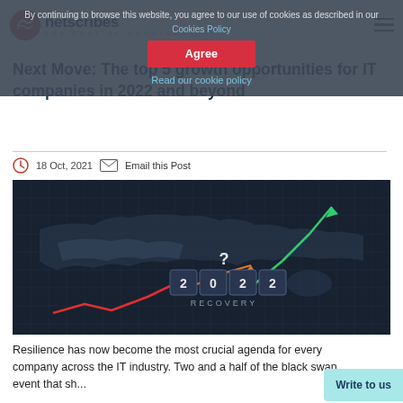Netscribes — Business of Knowledge (logo and navigation)
By continuing to browse this website, you agree to our use of cookies as described in our Cookies Policy
Agree
Read our cookie policy
Next Move: The top 5 growth opportunities for IT companies in 2022 and beyond
18 Oct, 2021  Email this Post
[Figure (illustration): Dark themed hero image showing a world map with arrows indicating market recovery, text blocks reading '2022 RECOVERY' with a question mark above]
Resilience has now become the most crucial agenda for every company across the IT industry. Two and a half of the black swan event that sh...